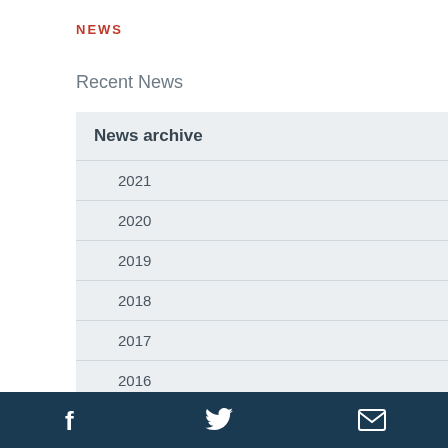NEWS
Recent News
News archive
2021
2020
2019
2018
2017
2016
2015
2014
2013
2012
f  [twitter]  [email]